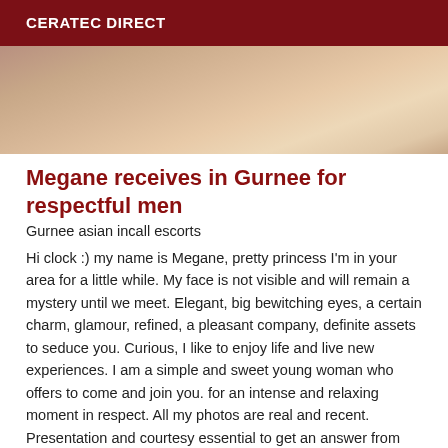CERATEC DIRECT
[Figure (photo): Partial photo of a person, face not visible, warm beige/tan tones]
Megane receives in Gurnee for respectful men
Gurnee asian incall escorts
Hi clock :) my name is Megane, pretty princess I'm in your area for a little while. My face is not visible and will remain a mystery until we meet. Elegant, big bewitching eyes, a certain charm, glamour, refined, a pleasant company, definite assets to seduce you. Curious, I like to enjoy life and live new experiences. I am a simple and sweet young woman who offers to come and join you. for an intense and relaxing moment in respect. All my photos are real and recent. Presentation and courtesy essential to get an answer from me... Contact me mainly by sms. I am in Gurnee at the moment :) Kiss Megane